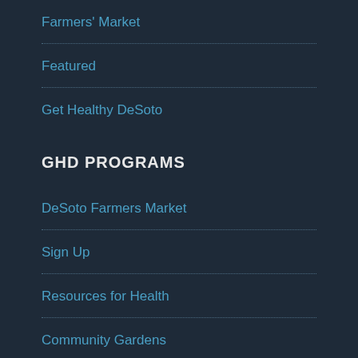Farmers' Market
Featured
Get Healthy DeSoto
GHD PROGRAMS
DeSoto Farmers Market
Sign Up
Resources for Health
Community Gardens
CONTACT
director@gethealthydesoto.org